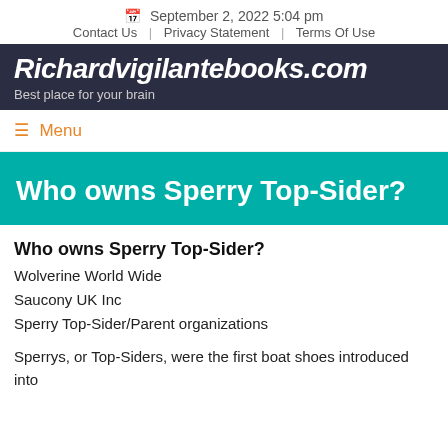September 2, 2022 5:04 pm
Contact Us | Privacy Statement | Terms Of Use
Richardvigilantebooks.com
Best place for your brain
≡ Menu
Who owns Sperry Top-Sider?
Who owns Sperry Top-Sider?
Wolverine World Wide
Saucony UK Inc
Sperry Top-Sider/Parent organizations
Sperrys, or Top-Siders, were the first boat shoes introduced into